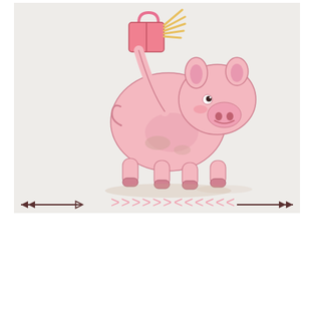[Figure (illustration): A cartoon pink pig carrying a pink shopping bag with items spilling out, standing on a light gray textured background. Below the pig are decorative arrow dividers pointing left and right with chevron patterns in the center. Below that is the text PIGGYPEDIA.COM in large pink outlined letters, and FOR SALE in bold dark charcoal small caps.]